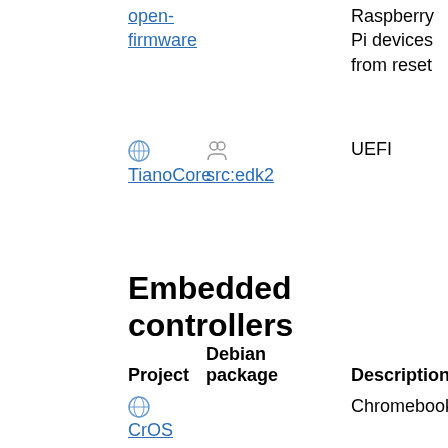| Project | Debian package | Description | Comments |
| --- | --- | --- | --- |
| open-firmware |  | Raspberry Pi devices from reset | briefly stalled, toolchain not upstream |
| TianoCore src:edk2 | src:edk2 | UEFI | hardware support not packaged in Debian |
Embedded controllers
| Project | Debian package | Description | Comments |
| --- | --- | --- | --- |
| CrOS EC |  | Chromebooks |  |
| crust | ITP 979326 | AR100 OpenRISC |  |